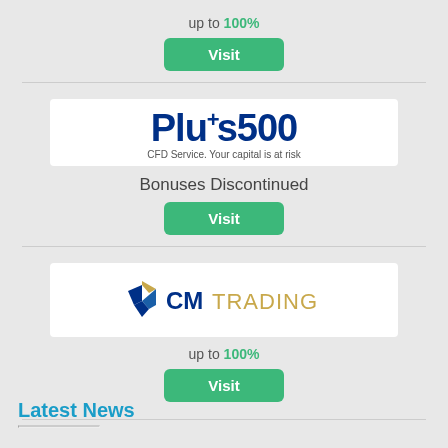up to 100%
Visit
[Figure (logo): Plus500 logo with text 'CFD Service. Your capital is at risk']
Bonuses Discontinued
Visit
[Figure (logo): CM Trading logo]
up to 100%
Visit
Latest News